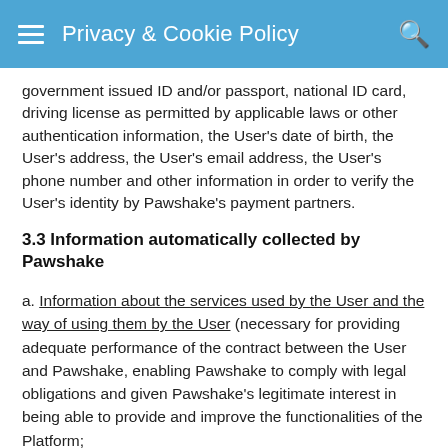Privacy & Cookie Policy
government issued ID and/or passport, national ID card, driving license as permitted by applicable laws or other authentication information, the User's date of birth, the User's address, the User's email address, the User's phone number and other information in order to verify the User's identity by Pawshake's payment partners.
3.3 Information automatically collected by Pawshake
a. Information about the services used by the User and the way of using them by the User (necessary for providing adequate performance of the contract between the User and Pawshake, enabling Pawshake to comply with legal obligations and given Pawshake's legitimate interest in being able to provide and improve the functionalities of the Platform;
b. Location Information – When you first install or launch any of our mobile applications that collect location information,